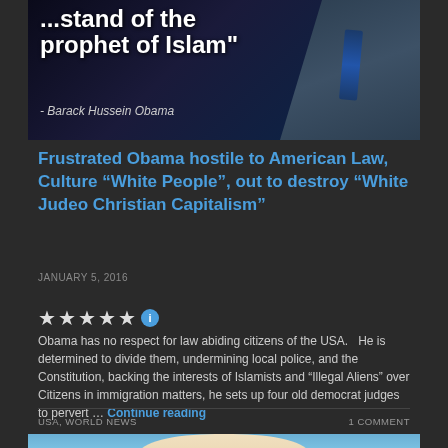[Figure (photo): Dark banner image with white bold text referencing 'prophet of Islam' attributed to Barack Hussein Obama, with a figure in a suit on the right side and watermark NowTheEndBegins.com]
Frustrated Obama hostile to American Law, Culture “White People”, out to destroy “White Judeo Christian Capitalism”
JANUARY 5, 2016
[Figure (other): Five star rating with blue info badge]
Obama has no respect for law abiding citizens of the USA.   He is determined to divide them, undermining local police, and the Constitution, backing the interests of Islamists and “Illegal Aliens” over Citizens in immigration matters, he sets up four old democrat judges to pervert … Continue reading
USA, WORLD NEWS
1 COMMENT
[Figure (photo): Bottom of page showing top portion of a person's head with light/white hair against a blue sky background]